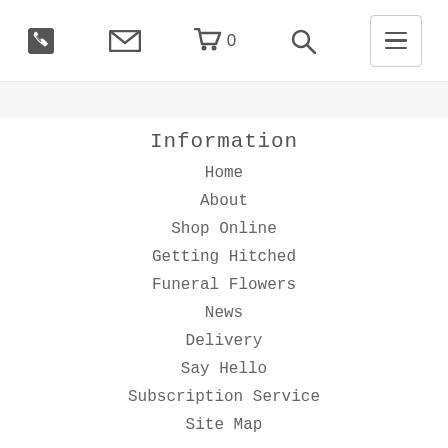Phone | Email | Cart 0 | Search | Menu
Information
Home
About
Shop Online
Getting Hitched
Funeral Flowers
News
Delivery
Say Hello
Subscription Service
Site Map